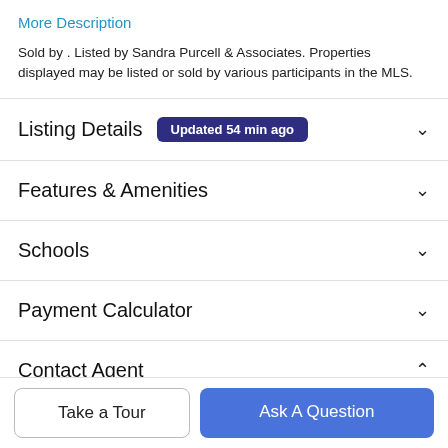More Description
Sold by . Listed by Sandra Purcell & Associates. Properties displayed may be listed or sold by various participants in the MLS.
Listing Details  Updated 54 min ago
Features & Amenities
Schools
Payment Calculator
Contact Agent
Take a Tour
Ask A Question